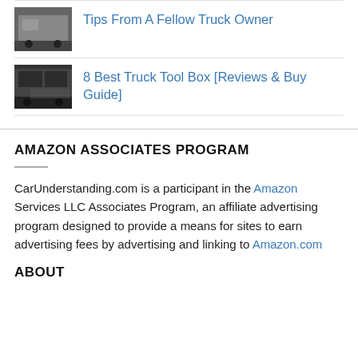Tips From A Fellow Truck Owner
8 Best Truck Tool Box [Reviews & Buy Guide]
AMAZON ASSOCIATES PROGRAM
CarUnderstanding.com is a participant in the Amazon Services LLC Associates Program, an affiliate advertising program designed to provide a means for sites to earn advertising fees by advertising and linking to Amazon.com
ABOUT